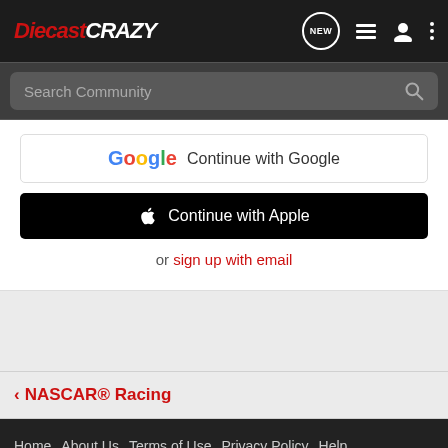DiecastCrazy - navigation bar with logo, NEW, list, person, and more icons
Search Community
Continue with Google
Continue with Apple
or sign up with email
< NASCAR® Racing
Home  About Us  Terms of Use  Privacy Policy  Help  Business Directory  Contact Us  |  Grow Your Business  NEW  RSS  VerticalScope Inc., 111 Peter Street, Suite 600, Toronto